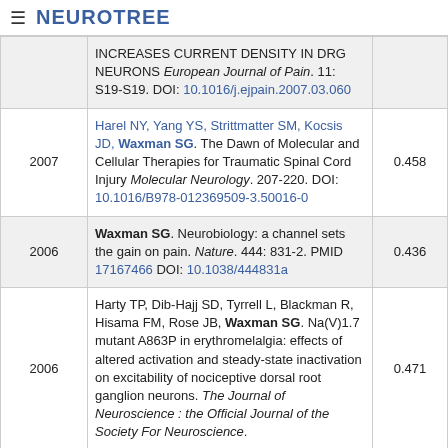NEUROTREE
| Year | Reference | Score |
| --- | --- | --- |
|  | INCREASES CURRENT DENSITY IN DRG NEURONS European Journal of Pain. 11: S19-S19. DOI: 10.1016/j.ejpain.2007.03.060 |  |
| 2007 | Harel NY, Yang YS, Strittmatter SM, Kocsis JD, Waxman SG. The Dawn of Molecular and Cellular Therapies for Traumatic Spinal Cord Injury Molecular Neurology. 207-220. DOI: 10.1016/B978-012369509-3.50016-0 | 0.458 |
| 2006 | Waxman SG. Neurobiology: a channel sets the gain on pain. Nature. 444: 831-2. PMID 17167466 DOI: 10.1038/444831a | 0.436 |
| 2006 | Harty TP, Dib-Hajj SD, Tyrrell L, Blackman R, Hisama FM, Rose JB, Waxman SG. Na(V)1.7 mutant A863P in erythromelalgia: effects of altered activation and steady-state inactivation on excitability of nociceptive dorsal root ganglion neurons. The Journal of Neuroscience : the Official Journal of the Society For Neuroscience. | 0.471 |